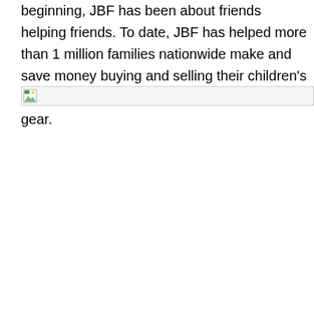beginning, JBF has been about friends helping friends. To date, JBF has helped more than 1 million families nationwide make and save money buying and selling their children's clothing, games, toys, maternity and baby gear.
[Figure (other): Broken image placeholder icon with small thumbnail icon and horizontal line]